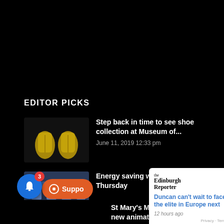EDITOR PICKS
Step back in time to see shoe collection at Museum of...
June 11, 2019 12:33 pm
Energy saving workshop this Thursday
[Figure (screenshot): Notification popup from Edinburgh Reporter: 'Duncan can't wait to face the elite in Europe next' with timestamp 12 hours ago]
St Mary's Music School launch new animated cl...